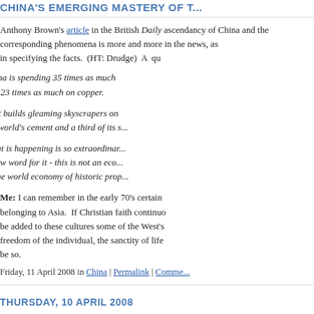CHINA'S EMERGING MASTERY OF T...
Anthony Brown's article in the British Daily ... ascendancy of China and the corresponding ... phenomena is more and more in the news, as... in specifying the facts. (HT: Drudge) A qu...
China is spending 35 times as much ... and 23 times as much on copper.
As it builds gleaming skyscrapers on... the world's cement and a third of its s...
What is happening is so extraordinar... a new word for it - this is not an eco... in the world economy of historic prop...
Me: I can remember in the early 70's certain... belonging to Asia. If Christian faith continuo... be added to these cultures some of the West's... freedom of the individual, the sanctity of life... be so.
Friday, 11 April 2008 in China | Permalink | Comme...
THURSDAY, 10 APRIL 2008